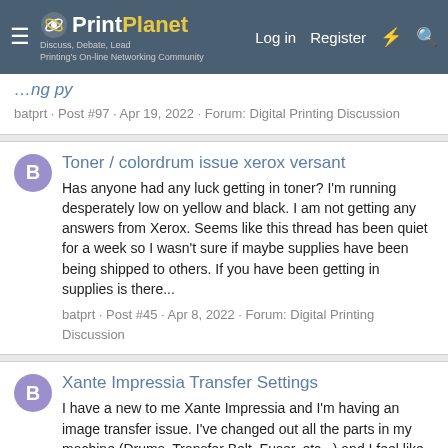PrintPlanet — Log in | Register
batprt · Post #97 · Apr 19, 2022 · Forum: Digital Printing Discussion
Toner / colordrum issue xerox versant
Has anyone had any luck getting in toner? I'm running desperately low on yellow and black. I am not getting any answers from Xerox. Seems like this thread has been quiet for a week so I wasn't sure if maybe supplies have been being shipped to others. If you have been getting in supplies is there...
batprt · Post #45 · Apr 8, 2022 · Forum: Digital Printing Discussion
Xante Impressia Transfer Settings
I have a new to me Xante Impressia and I'm having an image transfer issue. I've changed out all the parts in my machine (Drums, Transfer Belt, Fuser, etc...) and I feel like the image isn't transferring properly on my envelopes. On the part of the envelope that has 3 paper thickness (Front, Back...
batprt · Thread · Jan 4, 2022 · Replies: 1 · Forum: Digital